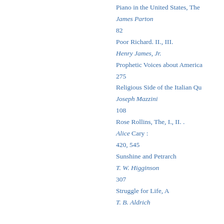Piano in the United States, The
James Parton
82
Poor Richard. II., III.
Henry James, Jr.
Prophetic Voices about America
275
Religious Side of the Italian Qu
Joseph Mazzini
108
Rose Rollins, The, I., II. .
Alice Cary :
420, 545
Sunshine and Petrarch
T. W. Higginson
307
Struggle for Life, A
T. B. Aldrich